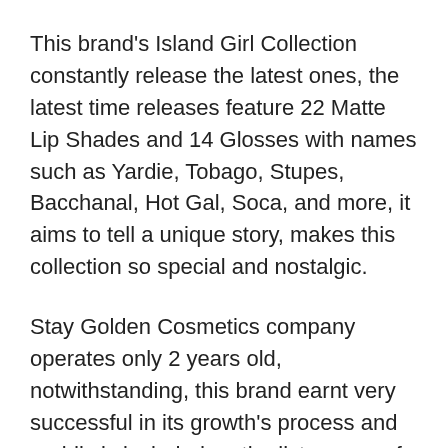This brand's Island Girl Collection constantly release the latest ones, the latest time releases feature 22 Matte Lip Shades and 14 Glosses with names such as Yardie, Tobago, Stupes, Bacchanal, Hot Gal, Soca, and more, it aims to tell a unique story, makes this collection so special and nostalgic.
Stay Golden Cosmetics company operates only 2 years old, notwithstanding, this brand earnt very successful in its growth's process and rapidly is included on the list as one of the newest leading beauty brands out of the Caribbean, this is shown clearly through growing the number of followers global quickly.
Featured products